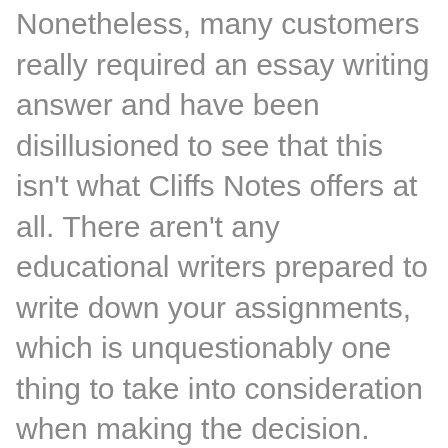Nonetheless, many customers really required an essay writing answer and have been disillusioned to see that this isn't what Cliffs Notes offers at all. There aren't any educational writers prepared to write down your assignments, which is unquestionably one thing to take into consideration when making the decision.
When reading this chapter, it's essential to take into account that Kiyosaki wrote Wealthy Dad Poor Dad as a motivational ebook, to not provide knowledgeable financial cliff notes review or tax advice. Similar to, taking tens of books on a given topic and summarize all their content into one (VS a abstract for every totally